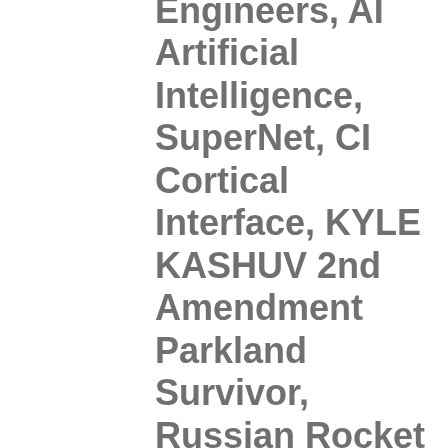Engineers, AI Artificial Intelligence, SuperNet, CI Cortical Interface, KYLE KASHUV 2nd Amendment Parkland Survivor, Russian Rocket Engines in North Korean Missles, Northern California